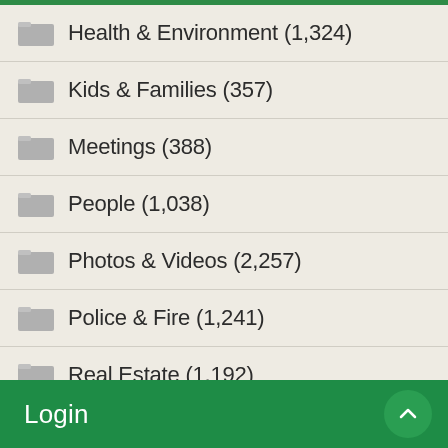Health & Environment (1,324)
Kids & Families (357)
Meetings (388)
People (1,038)
Photos & Videos (2,257)
Police & Fire (1,241)
Real Estate (1,192)
Schools (778)
Sports (654)
Transportation (718)
Login